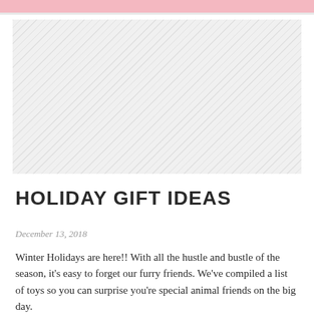[Figure (photo): Image placeholder with diagonal stripe pattern, representing a photo area]
HOLIDAY GIFT IDEAS
December 13, 2018
Winter Holidays are here!! With all the hustle and bustle of the season, it's easy to forget our furry friends. We've compiled a list of toys so you can surprise you're special animal friends on the big day.